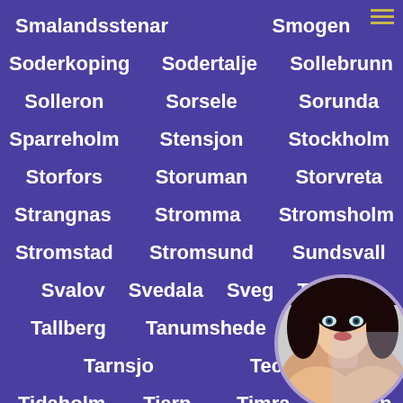Smalandsstenar
Smogen
Soderkoping
Sodertalje
Sollebrunn
Solleron
Sorsele
Sorunda
Sparreholm
Stensjon
Stockholm
Storfors
Storuman
Storvreta
Strangnas
Stromma
Stromsholm
Stromstad
Stromsund
Sundsvall
Svalov
Svedala
Sveg
Taberg
Tallberg
Tanumshede
T...
Tarnsjo
Teckomatorp
Tidaholm
Tierp
Timra
Tollarp
[Figure (photo): Circular avatar photo of a woman with dark hair, partially obscuring some city names in the bottom-right corner]